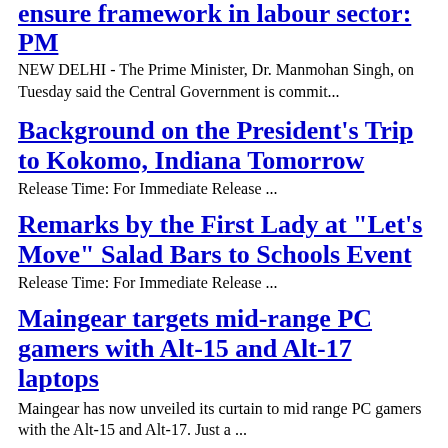ensure framework in labour sector: PM
NEW DELHI - The Prime Minister, Dr. Manmohan Singh, on Tuesday said the Central Government is commit...
Background on the President's Trip to Kokomo, Indiana Tomorrow
Release Time:  For Immediate Release ...
Remarks by the First Lady at "Let's Move" Salad Bars to Schools Event
Release Time:  For Immediate Release ...
Maingear targets mid-range PC gamers with Alt-15 and Alt-17 laptops
Maingear has now unveiled its curtain to mid range PC gamers with the Alt-15 and Alt-17. Just a ...
EU-U.S. Summit Joint Statement...